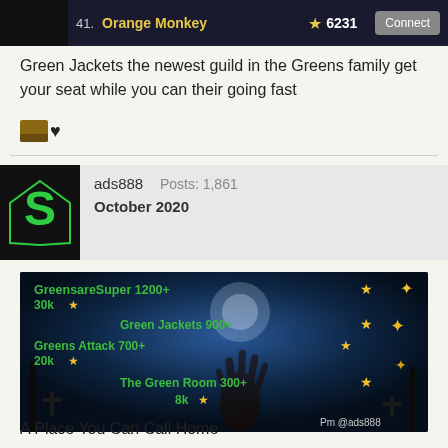[Figure (screenshot): Game leaderboard row showing rank 41, player name 'Orange Monkey', star score 6231, and a Connect button on dark background]
Green Jackets the newest guild in the Greens family get your seat while you can their going fast
[Figure (other): Small user avatar thumbnail with a heart reaction icon]
ads888   Posts: 1,861
October 2020
[Figure (infographic): Dark Halloween-themed promotional image with zombie hand, listing guilds: GreensareSuper 1200+ 30k star, Green Jackets 900+ star, Greens Attack 700+ 20k star, The Green Room 300+ 8k star. Footer: Pm @ads888]
A Place You Can Call Home